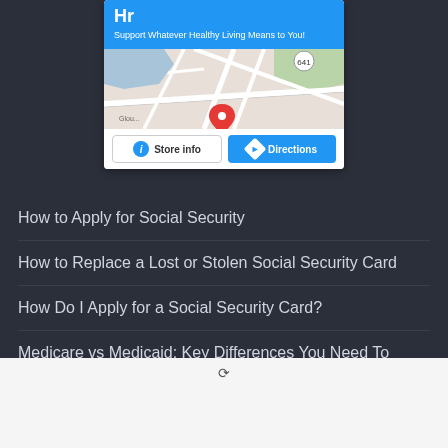[Figure (screenshot): Store info card with blue header showing 'Hr' and subtitle 'Support Whatever Healthy Living Means to You!', a Google Maps view with a red location pin, and two buttons: 'Store info' and 'Directions']
How to Apply for Social Security
How to Replace a Lost or Stolen Social Security Card
How Do I Apply for a Social Security Card?
Medicare vs Medicaid: Key Differences You Need To Know